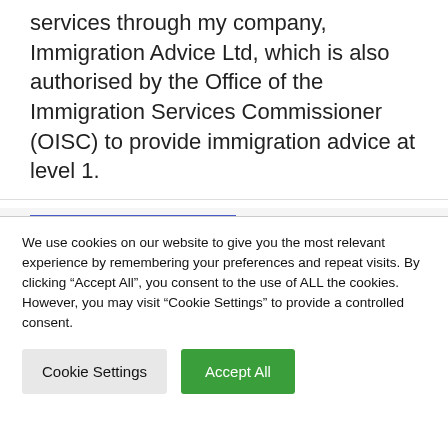services through my company, Immigration Advice Ltd, which is also authorised by the Office of the Immigration Services Commissioner (OISC) to provide immigration advice at level 1.
[Figure (logo): Partial logo with blue border rectangle and blue arc/dome shape visible, appears to be an official or regulatory body logo]
We use cookies on our website to give you the most relevant experience by remembering your preferences and repeat visits. By clicking "Accept All", you consent to the use of ALL the cookies. However, you may visit "Cookie Settings" to provide a controlled consent.
Cookie Settings   Accept All